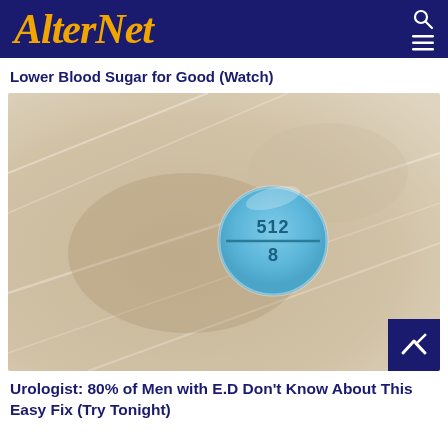AlterNet
Lower Blood Sugar for Good (Watch)
[Figure (photo): Close-up photo of a small blue round pill with '512' and '8' imprinted on it, placed on a clear plastic surface with a textured white background. A dark blue back-to-top button with a white chevron arrow is overlaid in the bottom-right corner.]
Urologist: 80% of Men with E.D Don't Know About This Easy Fix (Try Tonight)